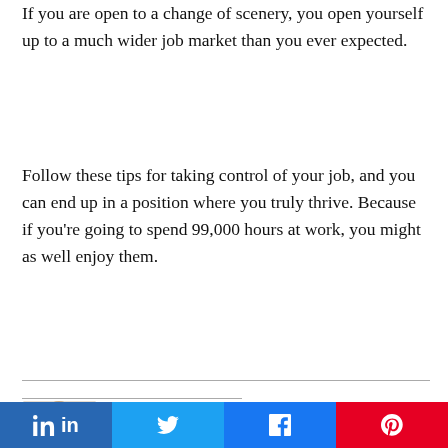If you are open to a change of scenery, you open yourself up to a much wider job market than you ever expected.
Follow these tips for taking control of your job, and you can end up in a position where you truly thrive. Because if you’re going to spend 99,000 hours at work, you might as well enjoy them.
[Figure (photo): Author photo of Amy Klimek, partial view of face]
Amy Klimek is an experienced HR
Share buttons: LinkedIn, Twitter, Facebook, Pinterest